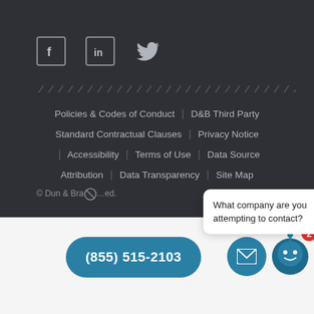[Figure (illustration): Social media icons: Facebook, LinkedIn, Twitter in a dark footer bar]
[Figure (illustration): Decorative diagonal slash divider line]
Policies & Codes of Conduct | D&B Third Party Standard Contractual Clauses | Privacy Notice | Accessibility | Terms of Use | Data Source Attribution | Data Transparency | Site Map
© Dun & Bradstreet, Inc. All rights reserved.
What company are you attempting to contact?
(855) 515-2103